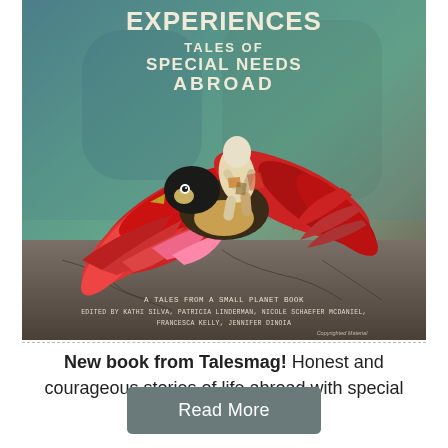[Figure (illustration): Book cover of 'Experiences: Tales of Special Needs Abroad' — a Tales from a Small Planet Book. Features an illustrated collage of a child riding a colorful bird (red, pink, orange wings) against a teal/green textured background. Edited by Kathi Silva, Patricia Linderman, Nicole Schaefer McDaniel, Francesca Kelly, Jennifer Dinoia.]
New book from Talesmag! Honest and courageous stories of life abroad with special needs.
Read More